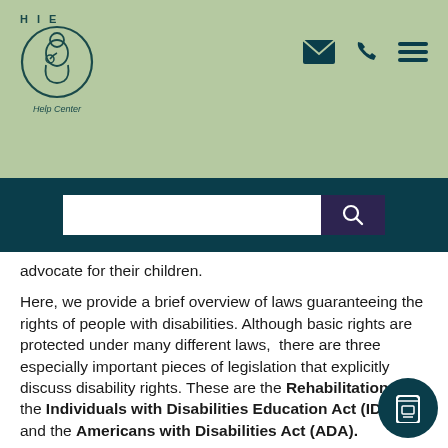[Figure (logo): HIE Help Center logo with mother and baby illustration in a circle, sage green background]
[Figure (infographic): Navigation icons: email envelope, telephone handset, hamburger menu]
[Figure (screenshot): Dark teal search bar with white input field and purple search button with magnifying glass icon]
advocate for their children.
Here, we provide a brief overview of laws guaranteeing the rights of people with disabilities. Although basic rights are protected under many different laws, there are three especially important pieces of legislation that explicitly discuss disability rights. These are the Rehabilitation Act, the Individuals with Disabilities Education Act (IDEA) and the Americans with Disabilities Act (ADA).